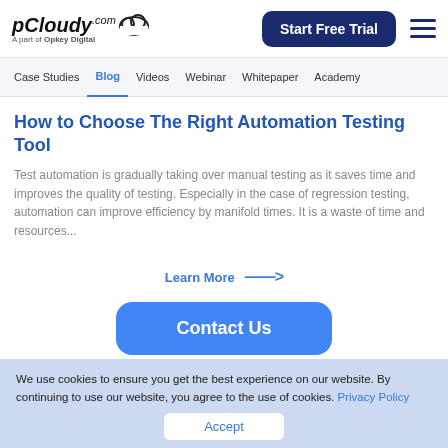[Figure (logo): pCloudy logo with cloud icon and text 'A part of Opkey Digital']
[Figure (other): Start Free Trial button (dark navy blue rounded rectangle)]
[Figure (other): Hamburger menu icon (three horizontal lines)]
Case Studies  Blog  Videos  Webinar  Whitepaper  Academy
How to Choose The Right Automation Testing Tool
Test automation is gradually taking over manual testing as it saves time and improves the quality of testing. Especially in the case of regression testing, automation can improve efficiency by manifold times. It is a waste of time and resources...
Learn More →
[Figure (other): Contact Us button (blue rounded rectangle)]
We use cookies to ensure you get the best experience on our website. By continuing to use our website, you agree to the use of cookies. Privacy Policy
Accept